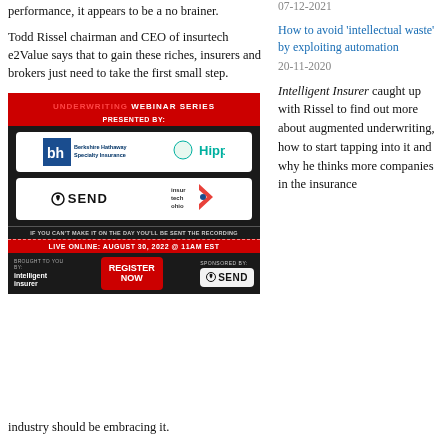performance, it appears to be a no brainer.
Todd Rissel chairman and CEO of insurtech e2Value says that to gain these riches, insurers and brokers just need to take the first small step.
How to avoid 'intellectual waste' by exploiting automation
07-12-2021
How to avoid 'intellectual waste' by exploiting automation
20-11-2020
[Figure (infographic): Underwriting Webinar Series presented by Berkshire Hathaway Specialty Insurance, Hippo, SEND, and Insur Tech Ohio. Live online August 30, 2022 at 11AM EST. Register Now button. Brought to you by Intelligent Insurer, Sponsored by SEND.]
Intelligent Insurer caught up with Rissel to find out more about augmented underwriting, how to start tapping into it and why he thinks more companies in the insurance industry should be embracing it.